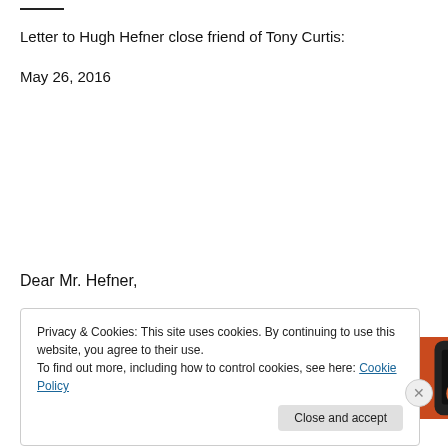Letter to Hugh Hefner close friend of Tony Curtis:
May 26, 2016
[Figure (other): DuckDuckGo advertisement banner with orange background, text 'Search, browse, and email with more privacy.' and a phone graphic with DuckDuckGo logo]
Dear Mr. Hefner,
Privacy & Cookies: This site uses cookies. By continuing to use this website, you agree to their use.
To find out more, including how to control cookies, see here: Cookie Policy